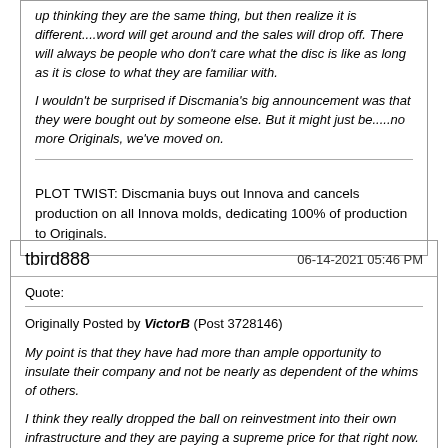up thinking they are the same thing, but then realize it is different....word will get around and the sales will drop off. There will always be people who don't care what the disc is like as long as it is close to what they are familiar with.
I wouldn't be surprised if Discmania's big announcement was that they were bought out by someone else. But it might just be.....no more Originals, we've moved on.
PLOT TWIST: Discmania buys out Innova and cancels production on all Innova molds, dedicating 100% of production to Originals.
tbird888
06-14-2021 05:46 PM
Quote:
Originally Posted by VictorB (Post 3728146)
My point is that they have had more than ample opportunity to insulate their company and not be nearly as dependent of the whims of others.

I think they really dropped the ball on reinvestment into their own infrastructure and they are paying a supreme price for that right now. What's happening now was likely avoidable if they had invested in becoming more independent.

I'm not faulting them for the pandemic - but there has